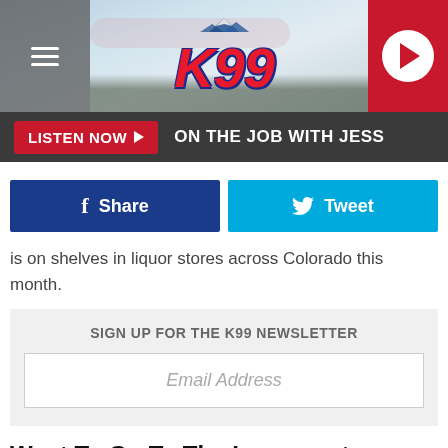[Figure (logo): K99 radio station header with logo, hamburger menu icon, and play button]
LISTEN NOW ▶  ON THE JOB WITH JESS
[Figure (other): Facebook Share button and Twitter Tweet button row]
is on shelves in liquor stores across Colorado this month.
SIGN UP FOR THE K99 NEWSLETTER
Email Address
Want To Go To The Longmont Humane Society's Homeward Bound Gala?
In order to attend Longmont Humane Society's Homeward Bound Gala next Saturday night, you must purchase a ticket, which costs $85.